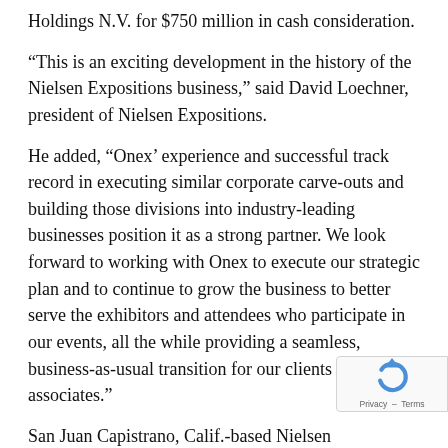Holdings N.V. for $750 million in cash consideration.
“This is an exciting development in the history of the Nielsen Expositions business,” said David Loechner, president of Nielsen Expositions.
He added, “Onex’ experience and successful track record in executing similar corporate carve-outs and building those divisions into industry-leading businesses position it as a strong partner. We look forward to working with Onex to execute our strategic plan and to continue to grow the business to better serve the exhibitors and attendees who participate in our events, all the while providing a seamless, business-as-usual transition for our clients and associates.”
San Juan Capistrano, Calif.-based Nielsen Expositions has 65 trade shows and conferences across nine different markets.
Ten of those shows placed on the 2012 TSNN Top 250 Trade Show list, with the largest being ASD Las Vegas Aug. at 683,846 net square feet.
For the year ended Dec. 31, 2012, Nielsen Expositions generated revenues of approximately $183 million.